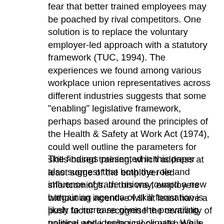fear that better trained employees may be poached by rival competitors. One solution is to replace the voluntary employer-led approach with a statutory framework (TUC, 1994). The experiences we found among various workplace union representatives across different industries suggests that some "enabling" legislative framework, perhaps based around the principles of the Health & Safety at Work Act (1974), could well outline the parameters for skills-based training, which address at least some of the employer-led shortcomings. In this way, employers without an incentive will at least have a push factor to recognise the centrality of training while trade unions will have a much clearer perspective of their role in bargaining for skills which can help bridge the long-standing gap between national policy and workplace practice.
The findings presented in this paper also suggest that both the role and influence of trade unions toward a new bargaining agenda of skill formation is likely to increase given the prevailing political and ideological climate. While we concur there is a combination of positive as well as contradictory processes, the full impact of a renewed industrial relations agenda of skill